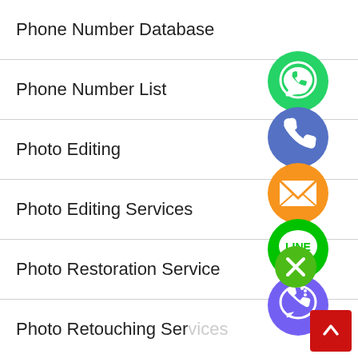Phone Number Database
Phone Number List
Photo Editing
Photo Editing Services
Photo Restoration Service
Photo Retouching Services
Portugal Phone Number
Qatar Phone Number
Raster to Vector Conversion
[Figure (infographic): Floating social/messaging app icons (WhatsApp green, phone/viber blue-purple, email orange, LINE green, Viber purple, close green) overlapping the list items on the right side]